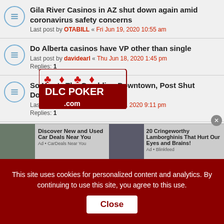Gila River Casinos in AZ shut down again amid coronavirus safety concerns
Last post by OTABILL « Fri Jun 19, 2020 10:55 am
Do Alberta casinos have VP other than single
Last post by davidearl « Thu Jun 18, 2020 1:45 pm
Replies: 1
So How's The Gambling Downtown, Post Shut Down?
Last post by Sea Lion « Sun Jun 07, 2020 9:11 pm
Replies: 1
The latest on AZ casinos: 5 reopening May 15, 4 June 1
Last post by OTABILL « Wed Jun 03, 2020 3:26 pm
Replies: 2
Casino changes during shutdown
Last post by DrKen « Tue Jun 02, 2020 7:56 am
Replies: 5
[Figure (screenshot): DLC Poker watermark logo overlay]
Discover New and Used Car Deals Near You
20 Cringeworthy Lamborghinis That Hurt Our Eyes and Brains!
This site uses cookies for personalized content and analytics. By continuing to use this site, you agree to this use.